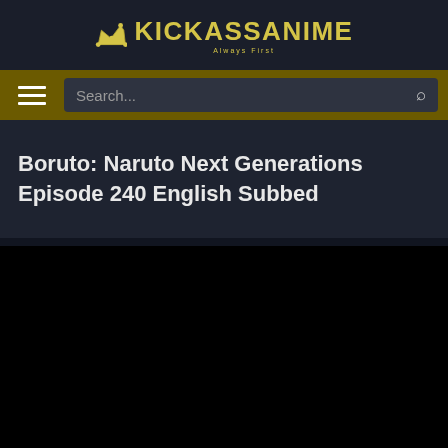KICKASSANIME Always First
Search...
Boruto: Naruto Next Generations Episode 240 English Subbed
[Figure (screenshot): Black video player area]